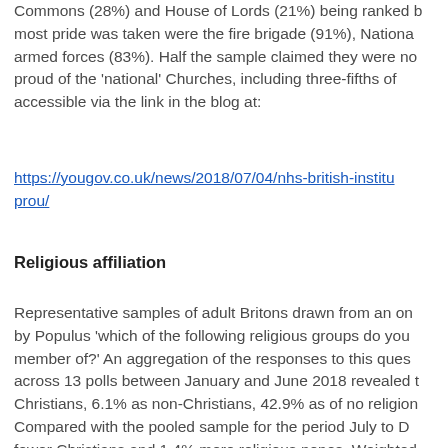Commons (28%) and House of Lords (21%) being ranked most pride was taken were the fire brigade (91%), Nationa armed forces (83%). Half the sample claimed they were no proud of the 'national' Churches, including three-fifths of accessible via the link in the blog at:
https://yougov.co.uk/news/2018/07/04/nhs-british-institu prou/
Religious affiliation
Representative samples of adult Britons drawn from an on by Populus 'which of the following religious groups do you member of?' An aggregation of the responses to this ques across 13 polls between January and June 2018 revealed t Christians, 6.1% as non-Christians, 42.9% as of no religion Compared with the pooled sample for the period July to D fewer Christians and 1.4% more religious nones. Weighted sundry tables on the Populus website.